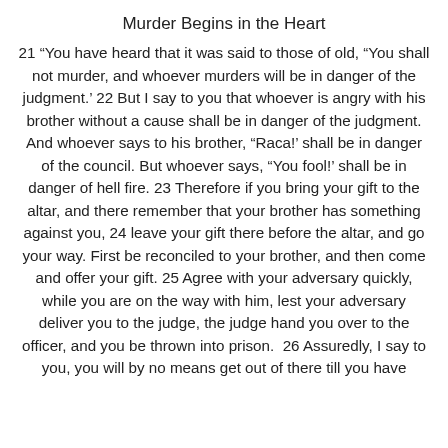Murder Begins in the Heart
21 "You have heard that it was said to those of old, "You shall not murder, and whoever murders will be in danger of the judgment.' 22 But I say to you that whoever is angry with his brother without a cause shall be in danger of the judgment. And whoever says to his brother, "Raca!' shall be in danger of the council. But whoever says, "You fool!' shall be in danger of hell fire. 23 Therefore if you bring your gift to the altar, and there remember that your brother has something against you, 24 leave your gift there before the altar, and go your way. First be reconciled to your brother, and then come and offer your gift. 25 Agree with your adversary quickly, while you are on the way with him, lest your adversary deliver you to the judge, the judge hand you over to the officer, and you be thrown into prison.  26 Assuredly, I say to you, you will by no means get out of there till you have